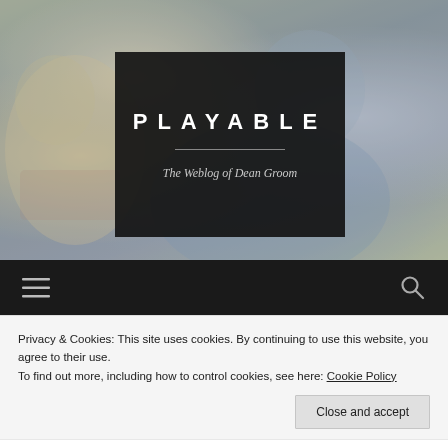[Figure (photo): Blurred background photo of two people (child and adult) in muted blue-green tones, serving as hero banner background for a blog called PLAYABLE]
PLAYABLE
The Weblog of Dean Groom
[Figure (infographic): Dark navigation bar with hamburger menu icon on left and search (magnifying glass) icon on right]
Privacy & Cookies: This site uses cookies. By continuing to use this website, you agree to their use.
To find out more, including how to control cookies, see here: Cookie Policy
Close and accept
NOVEMBER 11, 2016   DCHUA9